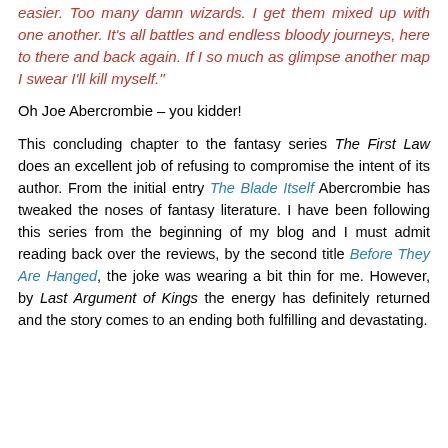easier. Too many damn wizards. I get them mixed up with one another. It's all battles and endless bloody journeys, here to there and back again. If I so much as glimpse another map I swear I'll kill myself."
Oh Joe Abercrombie – you kidder!
This concluding chapter to the fantasy series The First Law does an excellent job of refusing to compromise the intent of its author. From the initial entry The Blade Itself Abercrombie has tweaked the noses of fantasy literature. I have been following this series from the beginning of my blog and I must admit reading back over the reviews, by the second title Before They Are Hanged, the joke was wearing a bit thin for me. However, by Last Argument of Kings the energy has definitely returned and the story comes to an ending both fulfilling and devastating.